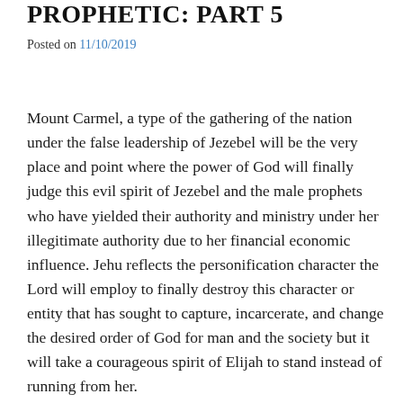PROPHETIC: PART 5
Posted on 11/10/2019
Mount Carmel, a type of the gathering of the nation under the false leadership of Jezebel will be the very place and point where the power of God will finally judge this evil spirit of Jezebel and the male prophets who have yielded their authority and ministry under her illegitimate authority due to her financial economic influence. Jehu reflects the personification character the Lord will employ to finally destroy this character or entity that has sought to capture, incarcerate, and change the desired order of God for man and the society but it will take a courageous spirit of Elijah to stand instead of running from her.